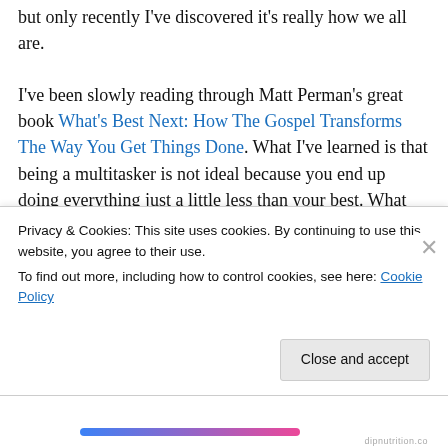but only recently I've discovered it's really how we all are.

I've been slowly reading through Matt Perman's great book What's Best Next: How The Gospel Transforms The Way You Get Things Done. What I've learned is that being a multitasker is not ideal because you end up doing everything just a little less than your best. What we think of as being more efficient has the opposite effect — we become less so. In fact, Perman says, the only one who's truly a multitasker is God. He does all things well, all at the same time. What we need to do, rather than a bunch of things at the same time, is do what we need to do well
Privacy & Cookies: This site uses cookies. By continuing to use this website, you agree to their use.
To find out more, including how to control cookies, see here: Cookie Policy
Close and accept